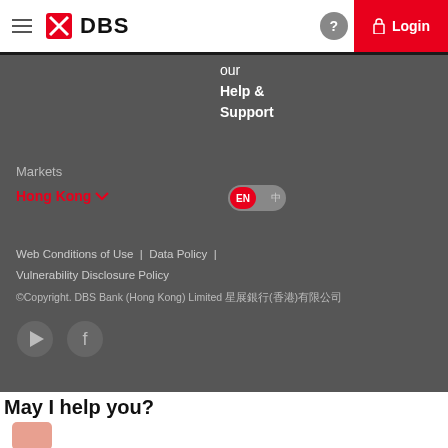DBS Bank - Login
our Help & Support
Markets
Hong Kong
EN
Web Conditions of Use | Data Policy | Vulnerability Disclosure Policy
©Copyright. DBS Bank (Hong Kong) Limited 星展銀行(香港)有限公司
May I help you?